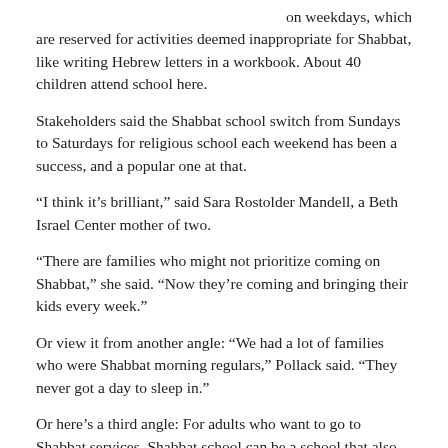on weekdays, which are reserved for activities deemed inappropriate for Shabbat, like writing Hebrew letters in a workbook. About 40 children attend school here.
Stakeholders said the Shabbat school switch from Sundays to Saturdays for religious school each weekend has been a success, and a popular one at that.
“I think it’s brilliant,” said Sara Rostolder Mandell, a Beth Israel Center mother of two.
“There are families who might not prioritize coming on Shabbat,” she said. “Now they’re coming and bringing their kids every week.”
Or view it from another angle: “We had a lot of families who were Shabbat morning regulars,” Pollack said. “They never got a day to sleep in.”
Or here’s a third angle: For adults who want to go to Shabbat services, Shabbat school can be a school that also acts as a babysitting service, Cohn Copelovitch said.
Rosenthal is now director of youth and family